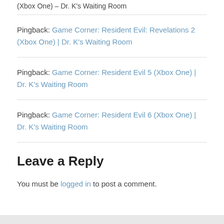(Xbox One) – Dr. K's Waiting Room
Pingback: Game Corner: Resident Evil: Revelations 2 (Xbox One) | Dr. K's Waiting Room
Pingback: Game Corner: Resident Evil 5 (Xbox One) | Dr. K's Waiting Room
Pingback: Game Corner: Resident Evil 6 (Xbox One) | Dr. K's Waiting Room
Leave a Reply
You must be logged in to post a comment.